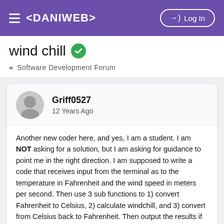≡ <DANIWEB>   → Log In
wind chill ✓
« Software Development Forum
Griff0527
12 Years Ago
Another new coder here, and yes, I am a student. I am NOT asking for a solution, but I am asking for guidance to point me in the right direction. I am supposed to write a code that receives input from the terminal as to the temperature in Fahrenheit and the wind speed in meters per second. Then use 3 sub functions to 1) convert Fahrenheit to Celsius, 2) calculate windchill, and 3) convert from Celsius back to Fahrenheit. Then output the results if the temperature in C is less than or equal to 10 degrees. I have written the code